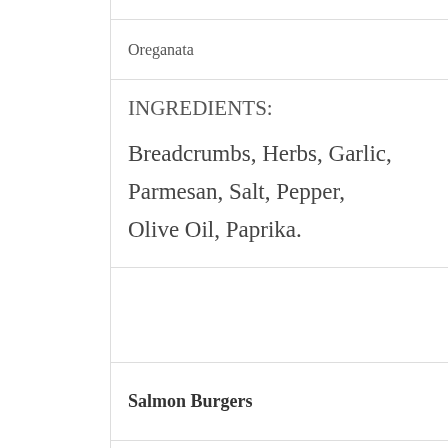Oreganata
INGREDIENTS: Breadcrumbs, Herbs, Garlic, Parmesan, Salt, Pepper, Olive Oil, Paprika.
Salmon Burgers
Fresh Salmon Burgers (6oz
$14.99 lb.